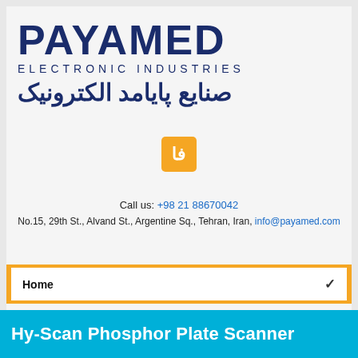[Figure (logo): PAYAMED Electronic Industries logo with Arabic text صنایع پایامد الکترونیک]
[Figure (other): Yellow button with Persian letter Fa (فا)]
Call us: +98 21 88670042
No.15, 29th St., Alvand St., Argentine Sq., Tehran, Iran, info@payamed.com
Home
Hy-Scan Phosphor Plate Scanner